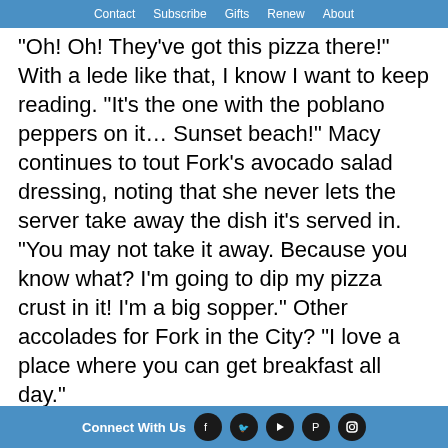Contact   Subscribe   Gifts   Renew   About
“Oh! Oh! They’ve got this pizza there!” With a lede like that, I know I want to keep reading. “It’s the one with the poblano peppers on it… Sunset beach!” Macy continues to tout Fork’s avocado salad dressing, noting that she never lets the server take away the dish it’s served in. “You may not take it away. Because you know what? I’m going to dip my pizza crust in it! I’m a big sopper.” Other accolades for Fork in the City? “I love a place where you can get breakfast all day.”
Jason Davis appreciates that the Texas Tavern “doesn’t cash checks or play with bumblebees.”
Connect With Us